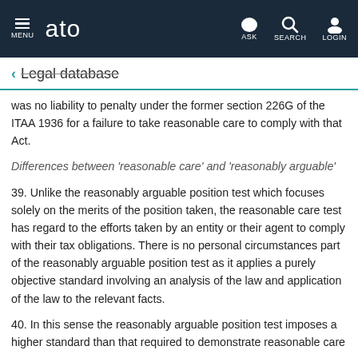MENU | ato | ASK | SEARCH | LOGIN
← Legal database
was no liability to penalty under the former section 226G of the ITAA 1936 for a failure to take reasonable care to comply with that Act.
Differences between 'reasonable care' and 'reasonably arguable'
39. Unlike the reasonably arguable position test which focuses solely on the merits of the position taken, the reasonable care test has regard to the efforts taken by an entity or their agent to comply with their tax obligations. There is no personal circumstances part of the reasonably arguable position test as it applies a purely objective standard involving an analysis of the law and application of the law to the relevant facts.
40. In this sense the reasonably arguable position test imposes a higher standard than that required to demonstrate reasonable care